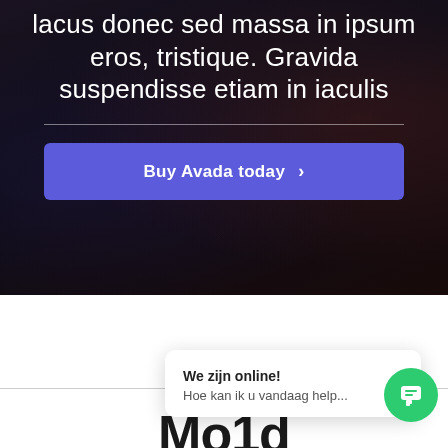lacus donec sed massa in ipsum eros, tristique. Gravida suspendisse etiam in iaculis
Buy Avada today >
We zijn online! Hoe kan ik u vandaag help...
[Figure (other): Green chat widget button with speech bubble icon]